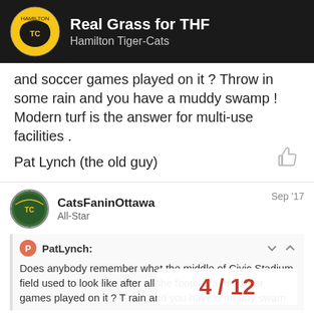Real Grass for THF | Hamilton Tiger-Cats
and soccer games played on it ? Throw in some rain and you have a muddy swamp ! Modern turf is the answer for multi-use facilities .
Pat Lynch (the old guy)
CatsFaninOttawa
All-Star
Sep '17
PatLynch:
Does anybody remember what the middle of Civic Stadium field used to look like after all the football and soccer games played on it ? T rain and you have a muddy swam
4 / 12